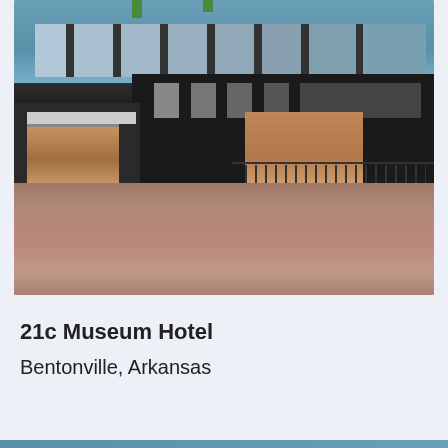[Figure (photo): Exterior photo of the 21c Museum Hotel in Bentonville, Arkansas. Modern building with dark brick facade, large glass windows across the top floor, illuminated entrance areas, and a broad paved forecourt. People visible near the entrance on the left. Photo taken at dusk/twilight.]
21c Museum Hotel
Bentonville, Arkansas